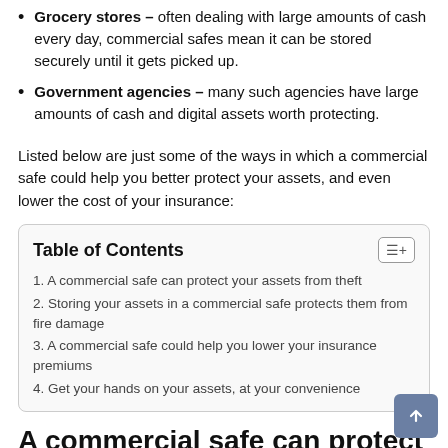Grocery stores – often dealing with large amounts of cash every day, commercial safes mean it can be stored securely until it gets picked up.
Government agencies – many such agencies have large amounts of cash and digital assets worth protecting.
Listed below are just some of the ways in which a commercial safe could help you better protect your assets, and even lower the cost of your insurance:
| Table of Contents |
| --- |
| 1. A commercial safe can protect your assets from theft |
| 2. Storing your assets in a commercial safe protects them from fire damage |
| 3. A commercial safe could help you lower your insurance premiums |
| 4. Get your hands on your assets, at your convenience |
A commercial safe can protect